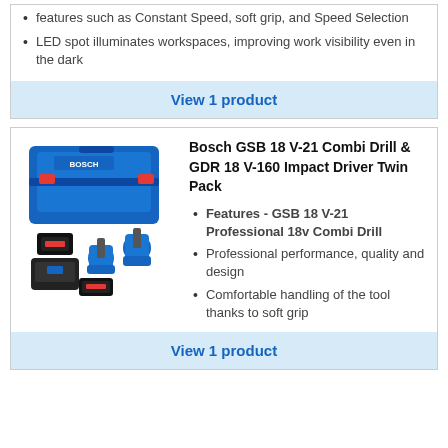features such as Constant Speed, soft grip, and Speed Selection
LED spot illuminates workspaces, improving work visibility even in the dark
View 1 product
[Figure (photo): Bosch GSB 18 V-21 Combi Drill and GDR 18 V-160 Impact Driver Twin Pack with batteries, charger, and L-Boxx case]
Bosch GSB 18 V-21 Combi Drill & GDR 18 V-160 Impact Driver Twin Pack
Features - GSB 18 V-21 Professional 18v Combi Drill
Professional performance, quality and design
Comfortable handling of the tool thanks to soft grip
View 1 product